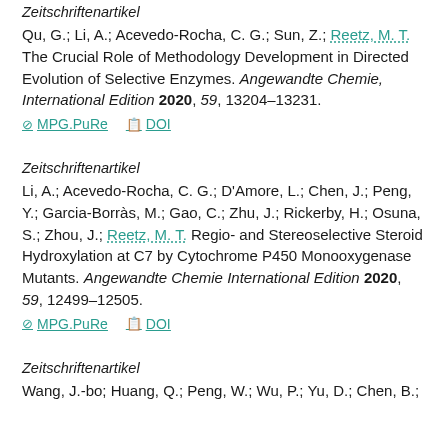Zeitschriftenartikel
Qu, G.; Li, A.; Acevedo-Rocha, C. G.; Sun, Z.; Reetz, M. T. The Crucial Role of Methodology Development in Directed Evolution of Selective Enzymes. Angewandte Chemie, International Edition 2020, 59, 13204–13231.
MPG.PuRe   DOI
Zeitschriftenartikel
Li, A.; Acevedo-Rocha, C. G.; D'Amore, L.; Chen, J.; Peng, Y.; Garcia-Borràs, M.; Gao, C.; Zhu, J.; Rickerby, H.; Osuna, S.; Zhou, J.; Reetz, M. T. Regio- and Stereoselective Steroid Hydroxylation at C7 by Cytochrome P450 Monooxygenase Mutants. Angewandte Chemie International Edition 2020, 59, 12499–12505.
MPG.PuRe   DOI
Zeitschriftenartikel
Wang, J.-bo; Huang, Q.; Peng, W.; Wu, P.; Yu, D.; Chen, B.;